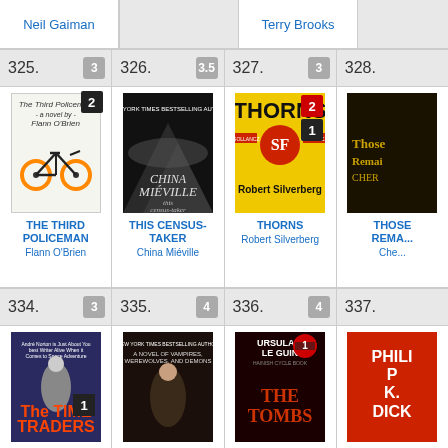Neil Gaiman
Terry Brooks
325.  3
326.  3.5
327.  3
328.
[Figure (illustration): Book cover: The Third Policeman by Flann O'Brien, white cover with bicycle]
THE THIRD POLICEMAN
Flann O'Brien
[Figure (illustration): Book cover: This Census-Taker by China Mieville, dark mountain scene]
THIS CENSUS-TAKER
China Miéville
[Figure (illustration): Book cover: Thorns by Robert Silverberg, yellow cover with SF badge]
THORNS
Robert Silverberg
[Figure (illustration): Book cover: Those Who Remain, dark cover, partially visible]
THOSE REMA...
Che...
334.  3
335.  4
336.  4
337.
[Figure (illustration): Book cover: The Time Traders]
[Figure (illustration): Book cover: partially visible, dark cover]
[Figure (illustration): Book cover: The Tombs by Ursula K. Le Guin]
[Figure (illustration): Book cover: Philip K. Dick, partially visible]